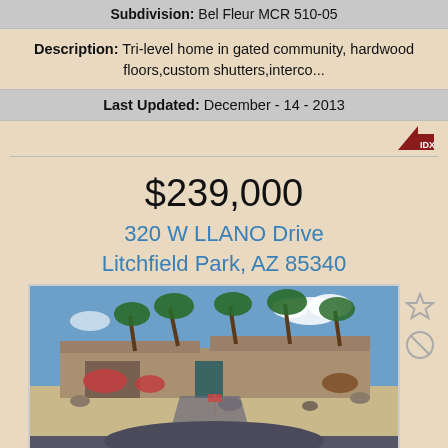Subdivision: Bel Fleur MCR 510-05
Description: Tri-level home in gated community, hardwood floors,custom shutters,interco...
Last Updated: December - 14 - 2013
[Figure (logo): IDX logo - triangle with IDX text]
$239,000
320 W LLANO Drive
Litchfield Park, AZ 85340
[Figure (photo): Exterior photo of a single-story desert home with palm trees, xeriscape landscaping, and a driveway in Litchfield Park, AZ]